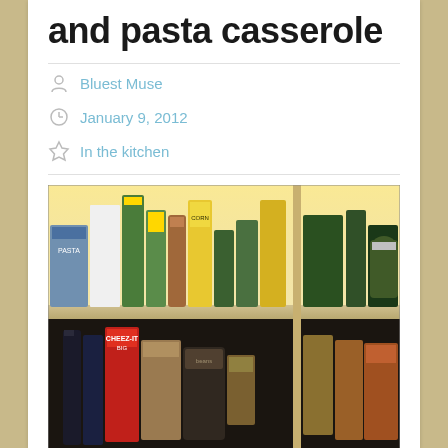and pasta casserole
Bluest Muse
January 9, 2012
In the kitchen
[Figure (photo): A pantry with multiple shelves stocked with canned goods, pasta boxes, bottles of oil, jars of pickles, cereal boxes, and various other food items. The pantry has warm yellow lighting on the top shelf and is divided into sections by vertical supports.]